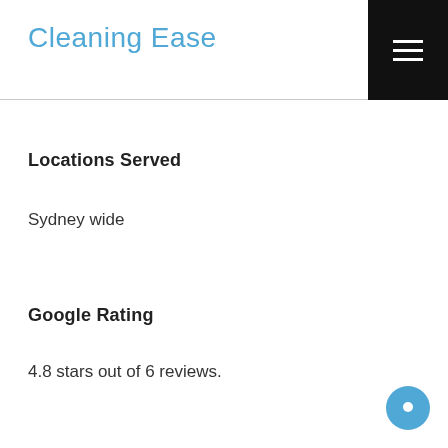Cleaning Ease
Locations Served
Sydney wide
Google Rating
4.8 stars out of 6 reviews.